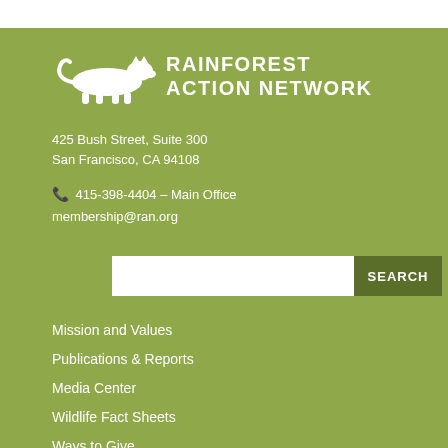[Figure (logo): Rainforest Action Network logo with white jaguar/panther silhouette and text RAINFOREST ACTION NETWORK in white capital letters on green background]
425 Bush Street, Suite 300
San Francisco, CA 94108
📞 415-398-4404 – Main Office
membership@ran.org
Mission and Values
Publications & Reports
Media Center
Wildlife Fact Sheets
Ways to Give
Donor Services
FAQ
Contact